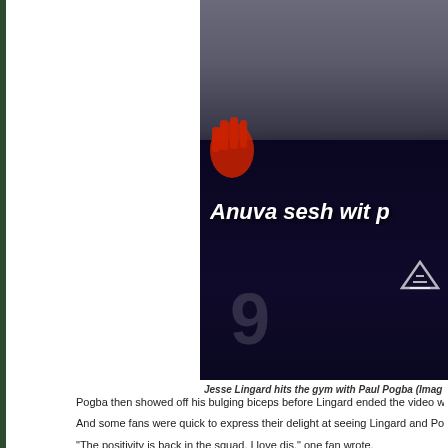[Figure (photo): Jesse Lingard and Paul Pogba in a gym video, wearing dark Manchester United training jerseys. Text overlay reads 'Anuva sesh wit p']
Jesse Lingard hits the gym with Paul Pogba (Imag
Pogba then showed off his bulging biceps before Lingard ended the video with
And some fans were quick to express their delight at seeing Lingard and Pogb
“The positivity is back in the squad. I love dis,” one fan wrote.
Another said: “Good bonding before Chelsea match.”